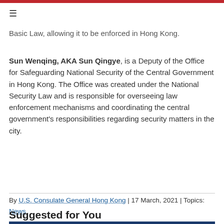Basic Law, allowing it to be enforced in Hong Kong.
Sun Wenqing, AKA Sun Qingye, is a Deputy of the Office for Safeguarding National Security of the Central Government in Hong Kong. The Office was created under the National Security Law and is responsible for overseeing law enforcement mechanisms and coordinating the central government's responsibilities regarding security matters in the city.
By U.S. Consulate General Hong Kong | 17 March, 2021 | Topics: News
Suggested for You